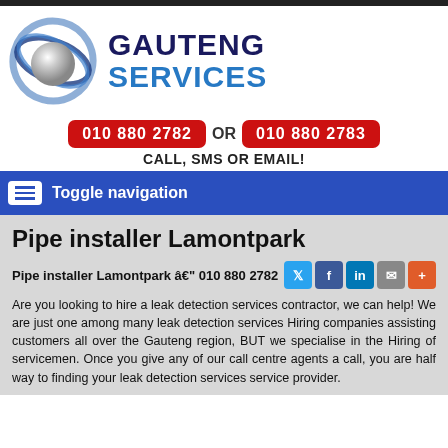[Figure (logo): Gauteng Services logo with swirling blue ribbons around a silver sphere, and bold text GAUTENG SERVICES]
010 880 2782 OR 010 880 2783
CALL, SMS OR EMAIL!
Toggle navigation
Pipe installer Lamontpark
Pipe installer Lamontpark â€" 010 880 2782
Are you looking to hire a leak detection services contractor, we can help! We are just one among many leak detection services Hiring companies assisting customers all over the Gauteng region, BUT we specialise in the Hiring of servicemen. Once you give any of our call centre agents a call, you are half way to finding your leak detection services service provider.